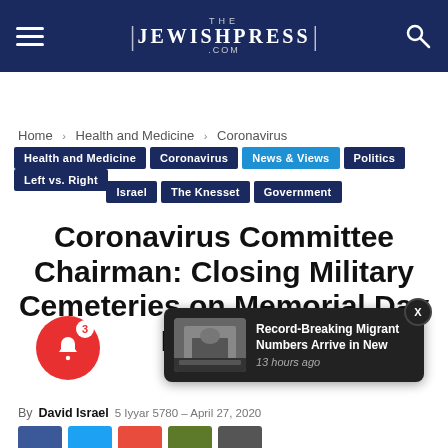JewishPress.com
Home › Health and Medicine › Coronavirus
Health and Medicine
Coronavirus
News & Views
Politics
Left vs. Right
Israel
The Knesset
Government
Coronavirus Committee Chairman: Closing Military Cemeteries on Memorial Day Inflicts N
By David Israel   5 Iyyar 5780 – April 27, 2020